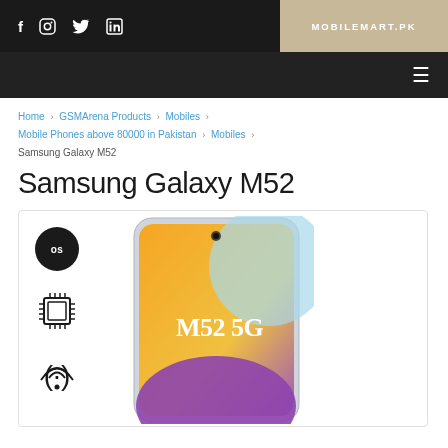MOBILEMART.PK — social icons: f, instagram, twitter, in
Home › GSMArena Products › Mobiles › Mobile Phones above 80000 in Pakistan › Mobiles › Samsung Galaxy M52
Samsung Galaxy M52
[Figure (photo): Samsung Galaxy M52 5G smartphone product image with OS badge, chip icon, and wireless icon on the left side]